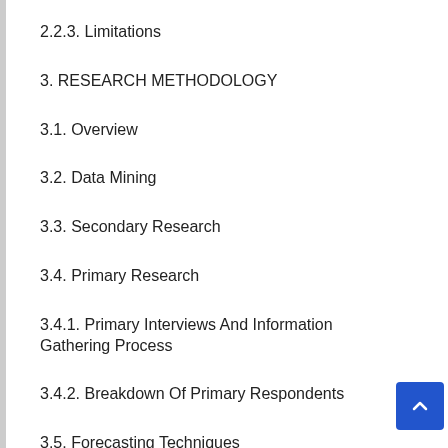2.2.3. Limitations
3. RESEARCH METHODOLOGY
3.1. Overview
3.2. Data Mining
3.3. Secondary Research
3.4. Primary Research
3.4.1. Primary Interviews And Information Gathering Process
3.4.2. Breakdown Of Primary Respondents
3.5. Forecasting Techniques